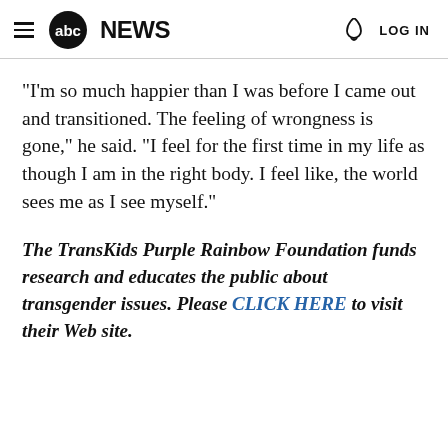abc NEWS  LOG IN
"I'm so much happier than I was before I came out and transitioned. The feeling of wrongness is gone," he said. "I feel for the first time in my life as though I am in the right body. I feel like, the world sees me as I see myself."
The TransKids Purple Rainbow Foundation funds research and educates the public about transgender issues. Please CLICK HERE to visit their Web site.